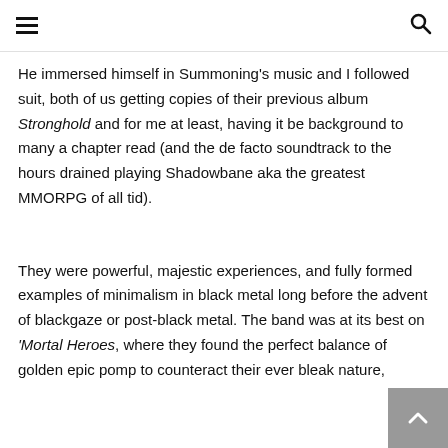navigation header with hamburger menu and search icon
He immersed himself in Summoning's music and I followed suit, both of us getting copies of their previous album Stronghold and for me at least, having it be background to many a chapter read (and the de facto soundtrack to the hours drained playing Shadowbane aka the greatest MMORPG of all tid).
They were powerful, majestic experiences, and fully formed examples of minimalism in black metal long before the advent of blackgaze or post-black metal. The band was at its best on 'Mortal Heroes, where they found the perfect balance of golden epic pomp to counteract their ever bleak nature,